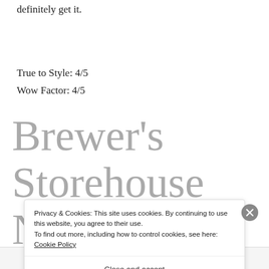definitely get it.
True to Style: 4/5
Wow Factor: 4/5
Brewer's Storehouse No. 03
Amber
Privacy & Cookies: This site uses cookies. By continuing to use this website, you agree to their use.
To find out more, including how to control cookies, see here: Cookie Policy
Close and accept